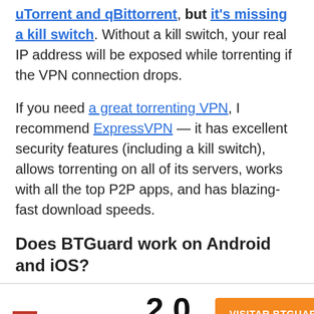uTorrent and qBittorrent, but it's missing a kill switch. Without a kill switch, your real IP address will be exposed while torrenting if the VPN connection drops.
If you need a great torrenting VPN, I recommend ExpressVPN — it has excellent security features (including a kill switch), allows torrenting on all of its servers, works with all the top P2P apps, and has blazing-fast download speeds.
Does BTGuard work on Android and iOS?
[Figure (logo): BTGuard logo with red BT box and GUARD text, rating 2.0 with 1 filled star and 4 empty stars, and orange VISITAR BTGUARD VPN button]